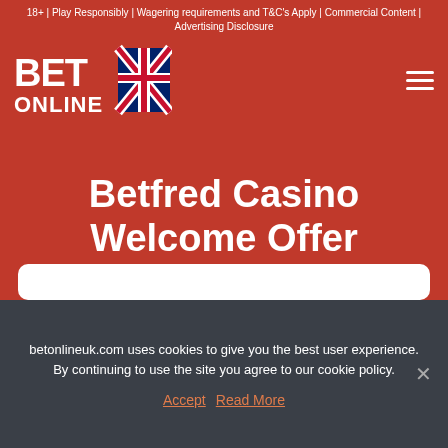18+ | Play Responsibly | Wagering requirements and T&C's Apply | Commercial Content | Advertising Disclosure
[Figure (logo): BET ONLINE UK logo with Union Jack flag incorporated into the text, white and dark blue on red background]
Betfred Casino Welcome Offer
betonlineuk.com uses cookies to give you the best user experience. By continuing to use the site you agree to our cookie policy.
Accept  Read More